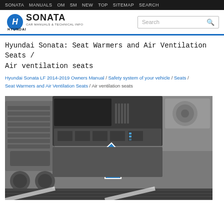SONATA  MANUALS  OM  SM  NEW  TOP  SITEMAP  SEARCH
[Figure (logo): Hyundai Sonata logo with text 'CAR MANUALS & TECHNICAL INFO' and a search box]
Hyundai Sonata: Seat Warmers and Air Ventilation Seats / Air ventilation seats
Hyundai Sonata LF 2014-2019 Owners Manual / Safety system of your vehicle / Seats / Seat Warmers and Air Ventilation Seats / Air ventilation seats
[Figure (photo): Photo of Hyundai Sonata center console/dashboard area showing seat ventilation button location with a blue upward arrow indicator]